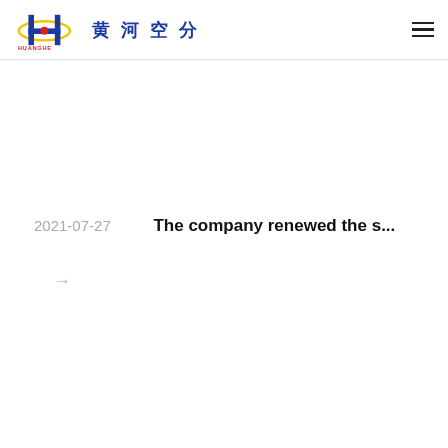黄河空分 HUANGHE
2021-07-27    The company renewed the s...
→